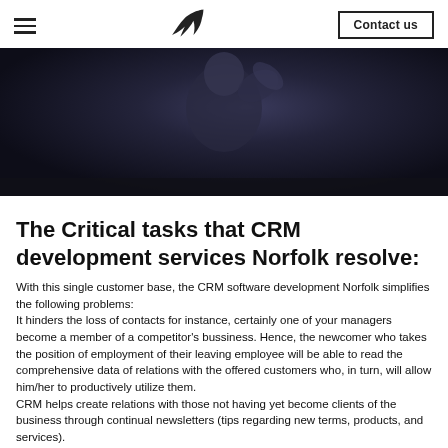Contact us
[Figure (photo): Dark moody photo of a person in dark clothing, partially blurred, dark background]
The Critical tasks that CRM development services Norfolk resolve:
With this single customer base, the CRM software development Norfolk simplifies the following problems:
It hinders the loss of contacts for instance, certainly one of your managers become a member of a competitor's bussiness. Hence, the newcomer who takes the position of employment of their leaving employee will be able to read the comprehensive data of relations with the offered customers who, in turn, will allow him/her to productively utilize them.
CRM helps create relations with those not having yet become clients of the business through continual newsletters (tips regarding new terms, products, and services).
It encourages efficient interaction between organization divisions.
Shared usage of the buyers database permits specialists from various departments to make and offer buyers bundles of goods and services, specially